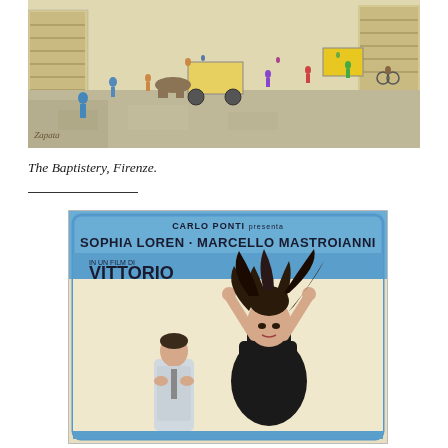[Figure (illustration): Watercolor painting of The Baptistery in Firenze (Florence), showing a street scene with pedestrians, a horse-drawn carriage, bicycles, and buildings. Artist signature visible in lower left.]
The Baptistery, Firenze.
[Figure (illustration): Italian film poster featuring 'Carlo Ponti presenta Sophia Loren e Marcello Mastroianni in un film di Vittorio De Sica'. Shows a woman with her arms raised and flowing hair in a black outfit, and a man in a light suit clapping in the background.]